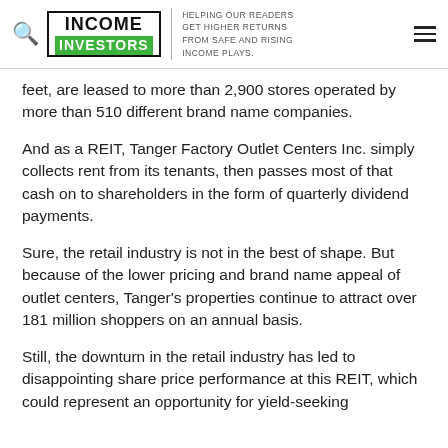INCOME INVESTORS — HELPING OUR READERS GET HIGHER RETURNS FROM SAFE AND RISING INCOME PLAYS.
feet, are leased to more than 2,900 stores operated by more than 510 different brand name companies.
And as a REIT, Tanger Factory Outlet Centers Inc. simply collects rent from its tenants, then passes most of that cash on to shareholders in the form of quarterly dividend payments.
Sure, the retail industry is not in the best of shape. But because of the lower pricing and brand name appeal of outlet centers, Tanger's properties continue to attract over 181 million shoppers on an annual basis.
Still, the downturn in the retail industry has led to disappointing share price performance at this REIT, which could represent an opportunity for yield-seeking